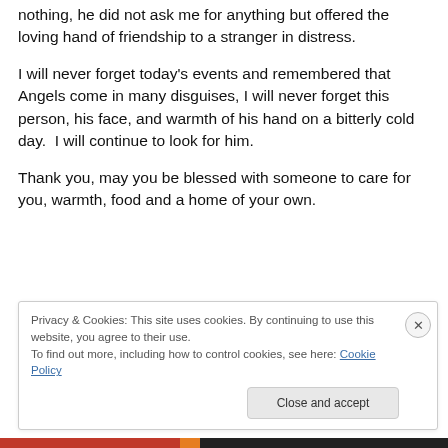nothing, he did not ask me for anything but offered the loving hand of friendship to a stranger in distress.
I will never forget today's events and remembered that Angels come in many disguises, I will never forget this person, his face, and warmth of his hand on a bitterly cold day.  I will continue to look for him.
Thank you, may you be blessed with someone to care for you, warmth, food and a home of your own.
Privacy & Cookies: This site uses cookies. By continuing to use this website, you agree to their use.
To find out more, including how to control cookies, see here: Cookie Policy
Close and accept